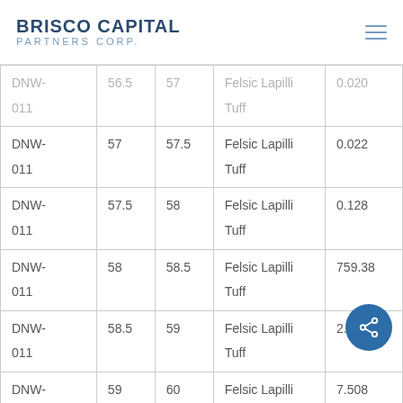BRISCO CAPITAL PARTNERS CORP.
| Hole ID | From | To | Rock Type | Au (g/t) |
| --- | --- | --- | --- | --- |
| DNW-011 | 56.5 | 57 | Felsic Lapilli Tuff | 0.020 |
| DNW-011 | 57 | 57.5 | Felsic Lapilli Tuff | 0.022 |
| DNW-011 | 57.5 | 58 | Felsic Lapilli Tuff | 0.128 |
| DNW-011 | 58 | 58.5 | Felsic Lapilli Tuff | 759.38 |
| DNW-011 | 58.5 | 59 | Felsic Lapilli Tuff | 2.24 |
| DNW- | 59 | 60 | Felsic Lapilli | 7.508 |